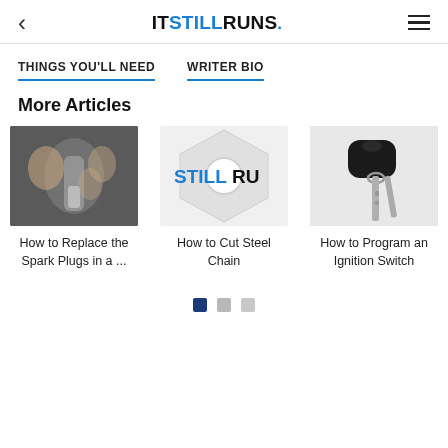< ITSTILLRUNS. ≡
THINGS YOU'LL NEED
WRITER BIO
More Articles
[Figure (photo): Close-up of hands holding a spark plug]
How to Replace the Spark Plugs in a ...
[Figure (logo): ItStillRuns placeholder logo on hexagonal background]
How to Cut Steel Chain
[Figure (photo): Car key with black fob and metal key blade]
How to Program an Ignition Switch